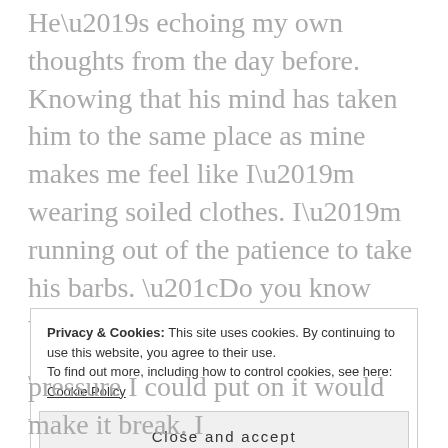He’s echoing my own thoughts from the day before. Knowing that his mind has taken him to the same place as mine makes me feel like I’m wearing soiled clothes. I’m running out of the patience to take his barbs. “Do you know who is behind the killings?”
“No. It’s not anyone who looks to me and mine.” He goes back to looking at me in reflection. “But there are whispers in the wind.”
“Tell me.”
Privacy & Cookies: This site uses cookies. By continuing to use this website, you agree to their use. To find out more, including how to control cookies, see here: Cookie Policy
Close and accept
pressure I could put on it would make it break. I